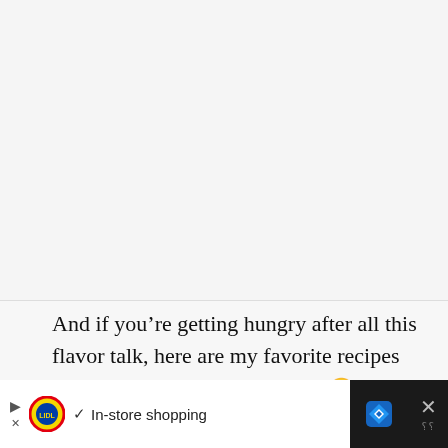[Figure (other): Large blank/white content area at the top of the page, representing an image placeholder or loaded image region.]
And if you’re getting hungry after all this flavor talk, here are my favorite recipes on the site that use dried chiles 🙂
[Figure (other): Advertisement banner at the bottom. Shows Lidl logo, checkmark and 'In-store shopping' text, a blue diamond navigation icon, and a close/X button on dark background.]